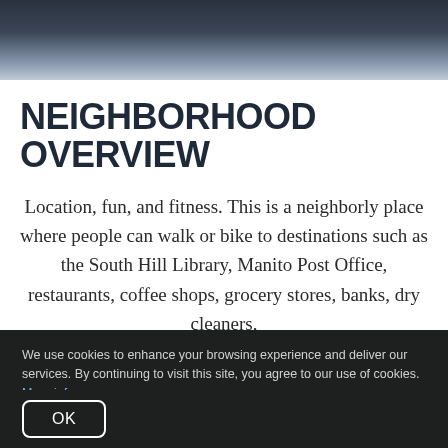[Figure (photo): Dark stormy sky photograph used as page header background]
NEIGHBORHOOD OVERVIEW
Location, fun, and fitness. This is a neighborly place where people can walk or bike to destinations such as the South Hill Library, Manito Post Office, restaurants, coffee shops, grocery stores, banks, dry cleaners,
We use cookies to enhance your browsing experience and deliver our services. By continuing to visit this site, you agree to our use of cookies. More info
OK